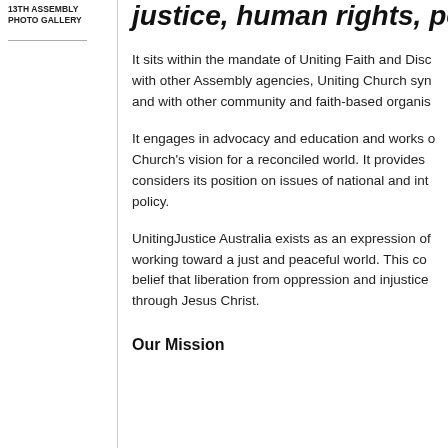13TH ASSEMBLY PHOTO GALLERY
justice, human rights, peace ar
It sits within the mandate of Uniting Faith and Disc with other Assembly agencies, Uniting Church syn and with other community and faith-based organis
It engages in advocacy and education and works o Church's vision for a reconciled world. It provides considers its position on issues of national and int policy.
UnitingJustice Australia exists as an expression of working toward a just and peaceful world. This com belief that liberation from oppression and injustice through Jesus Christ.
Our Mission